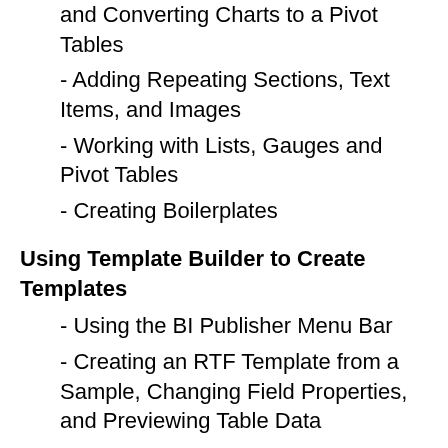- and Converting Charts to a Pivot Tables
- Adding Repeating Sections, Text Items, and Images
- Working with Lists, Gauges and Pivot Tables
- Creating Boilerplates
Using Template Builder to Create Templates
- Using the BI Publisher Menu Bar
- Creating an RTF Template from a Sample, Changing Field Properties, and Previewing Table Data
- Adding a Chart to an RTF Template
- Designing an RTF Template for a BI Publisher Report
- Creating a BI Publisher Report by Using Template Builder in Online Mode